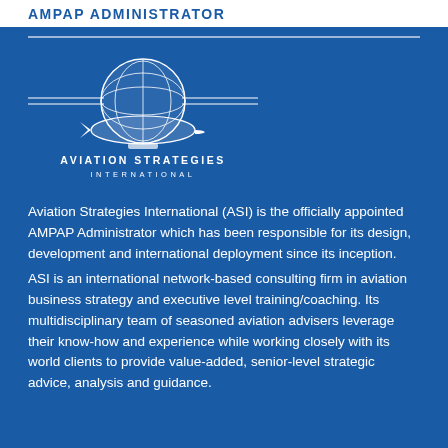AMPAP ADMINISTRATOR
[Figure (logo): Aviation Strategies International logo: globe with blimp/airship, horizontal lines, and text 'AVIATION STRATEGIES INTERNATIONAL']
Aviation Strategies International (ASI) is the officially appointed AMPAP Administrator which has been responsible for its design, development and international deployment since its inception.
ASI is an international network-based consulting firm in aviation business strategy and executive level training/coaching. Its multidisciplinary team of seasoned aviation advisers leverage their know-how and experience while working closely with its world clients to provide value-added, senior-level strategic advice, analysis and guidance.